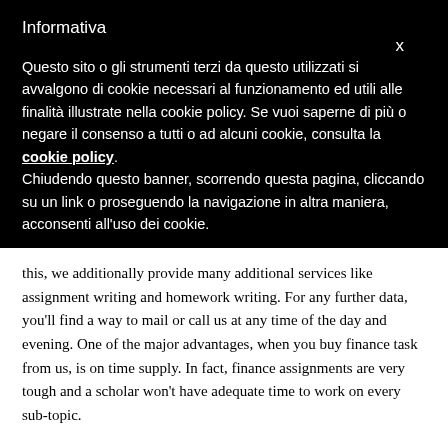Informativa
Questo sito o gli strumenti terzi da questo utilizzati si avvalgono di cookie necessari al funzionamento ed utili alle finalità illustrate nella cookie policy. Se vuoi saperne di più o negare il consenso a tutti o ad alcuni cookie, consulta la cookie policy. Chiudendo questo banner, scorrendo questa pagina, cliccando su un link o proseguendo la navigazione in altra maniera, acconsenti all'uso dei cookie.
this, we additionally provide many additional services like assignment writing and homework writing. For any further data, you'll find a way to mail or call us at any time of the day and evening. One of the major advantages, when you buy finance task from us, is on time supply. In fact, finance assignments are very tough and a scholar won't have adequate time to work on every sub-topic.